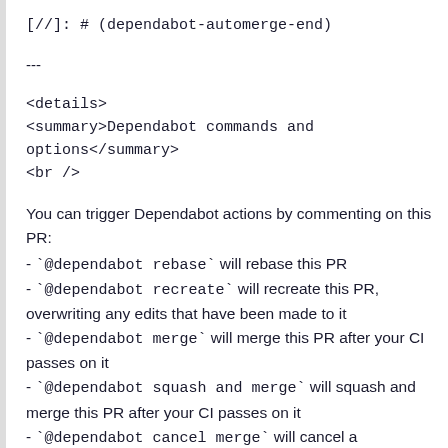[//]: # (dependabot-automerge-end)
---
<details>
<summary>Dependabot commands and options</summary>
<br />
You can trigger Dependabot actions by commenting on this PR:
- `@dependabot rebase` will rebase this PR
- `@dependabot recreate` will recreate this PR, overwriting any edits that have been made to it
- `@dependabot merge` will merge this PR after your CI passes on it
- `@dependabot squash and merge` will squash and merge this PR after your CI passes on it
- `@dependabot cancel merge` will cancel a